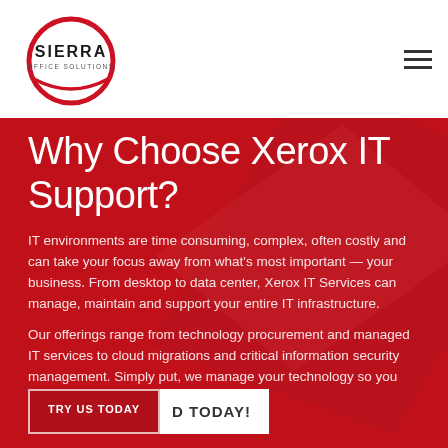[Figure (logo): Sierra Office Solutions circular logo with red ring and company name]
Why Choose Xerox IT Support?
IT environments are time consuming, complex, often costly and can take your focus away from what's most important — your business. From desktop to data center, Xerox IT Services can manage, maintain and support your entire IT infrastructure.
Our offerings range from technology procurement and managed IT services to cloud migrations and critical information security management. Simply put, we manage your technology so you can manage your business
TRY US TODAY | D TODAY!